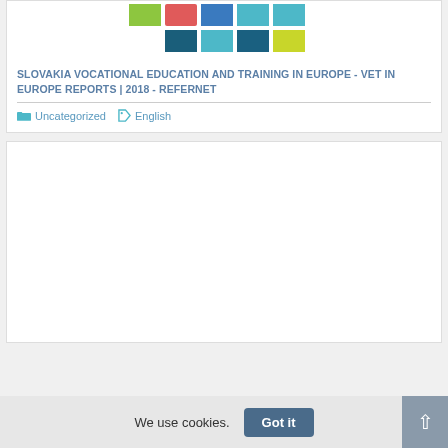[Figure (illustration): Colorful tile grid image with green, teal, blue, light-blue, and yellow-green squares arranged in a decorative pattern with a small heart or icon in the center area]
SLOVAKIA VOCATIONAL EDUCATION AND TRAINING IN EUROPE - VET IN EUROPE REPORTS | 2018 - REFERNET
Uncategorized  English
[Figure (screenshot): Empty white card area representing a second content card with no visible content]
We use cookies.
Got it